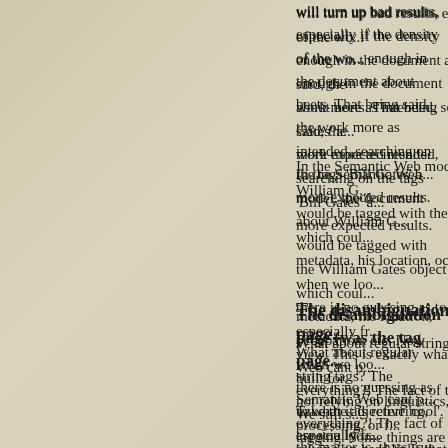will turn up bad results, especially if the density of the wo... enough in the document about beets. That being said, the work more as intended, searching on the tags 'Bill Gates' a... more expected results.
In the Semantic Web model, the document about William G... would be tagged with the William Gates object which coul... metadata, his location, occupation, etc. Now when we loo... there is no guessing as to what it is referring, especially fr... view. This is exactly what the Semantic Web was built for. not relying on linguistics, natural language processing, or f... relying on hard links that machines can understand and re...
The disambiguation page (was the tag page...
What about regular string tags? The Semantic Web cant p... everything?! The fact of the matter is, thats true. We still s... tagging. Some things are not proper nouns and less concr... verbs. They may not yet deserve their own object; howeve... actual language here for a second. The semantics behind things.
Take the adjective 'cool'. Well, first of all, what are you loo... grouping of multiple nouns? Probably 'cool' nouns. A searc... turn up anything and everything from many different levels...